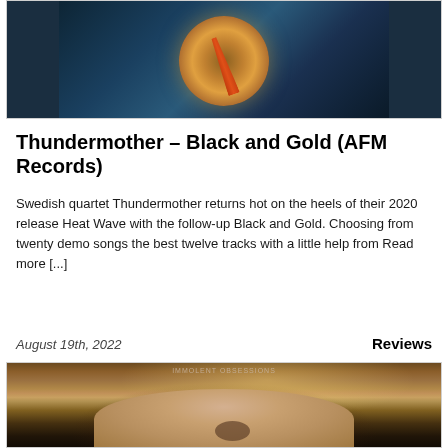[Figure (photo): Album cover art for Thundermother Black and Gold on dark blue metallic background with golden lightning bolt fist motif]
Thundermother – Black and Gold (AFM Records)
Swedish quartet Thundermother returns hot on the heels of their 2020 release Heat Wave with the follow-up Black and Gold. Choosing from twenty demo songs the best twelve tracks with a little help from Read more [...]
August 19th, 2022
Reviews
[Figure (photo): Album cover art showing an aged face with mask, text reading IMMOLENT OBSESSIONS at top]